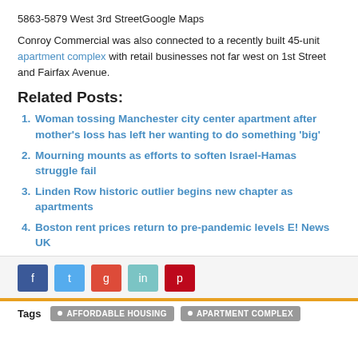5863-5879 West 3rd StreetGoogle Maps
Conroy Commercial was also connected to a recently built 45-unit apartment complex with retail businesses not far west on 1st Street and Fairfax Avenue.
Related Posts:
Woman tossing Manchester city center apartment after mother’s loss has left her wanting to do something ‘big’
Mourning mounts as efforts to soften Israel-Hamas struggle fail
Linden Row historic outlier begins new chapter as apartments
Boston rent prices return to pre-pandemic levels E! News UK
[Figure (other): Social sharing buttons: Facebook, Twitter, Google+, LinkedIn, Pinterest]
Tags  AFFORDABLE HOUSING  APARTMENT COMPLEX